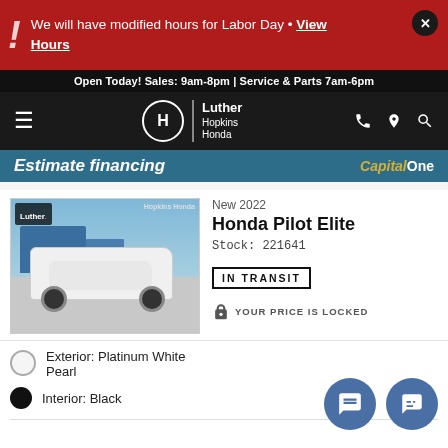We will have modified hours for Labor Day • View Hours
Open Today! Sales: 9am-8pm | Service & Parts 7am-6pm
Luther Hopkins Honda
Estimate financing  Capital One
[Figure (photo): White 2022 Honda Pilot Elite SUV parked in front of Luther Hopkins Honda dealership]
New 2022
Honda Pilot Elite
Stock: 221641
IN TRANSIT
YOUR PRICE IS LOCKED
Exterior: Platinum White Pearl
Interior: Black